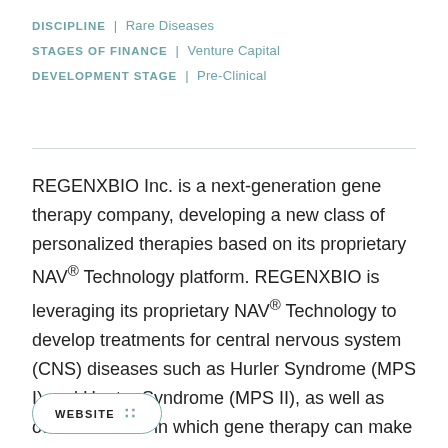DISCIPLINE | Rare Diseases
STAGES OF FINANCE | Venture Capital
DEVELOPMENT STAGE | Pre-Clinical
REGENXBIO Inc. is a next-generation gene therapy company, developing a new class of personalized therapies based on its proprietary NAV® Technology platform. REGENXBIO is leveraging its proprietary NAV® Technology to develop treatments for central nervous system (CNS) diseases such as Hurler Syndrome (MPS I) and Hunter Syndrome (MPS II), as well as other diseases in which gene therapy can make a meaningful difference in patients' lives.
WEBSITE